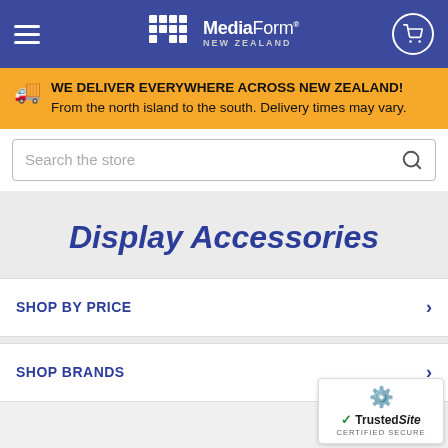MediaForm New Zealand
WE DELIVER EVERYWHERE ACROSS NEW ZEALAND! From the north island to the south. Delivery times may vary.
Search the store
Display Accessories
SHOP BY PRICE
SHOP BRANDS